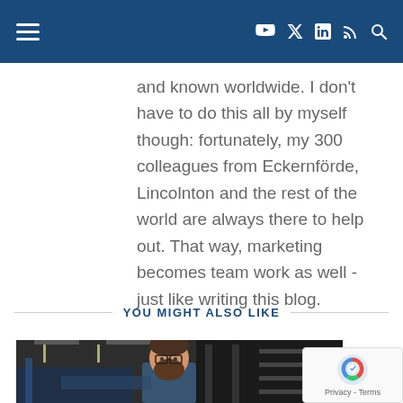Navigation header with hamburger menu and social icons (YouTube, X, LinkedIn, RSS, Search)
and known worldwide. I don't have to do this all by myself though: fortunately, my 300 colleagues from Eckernförde, Lincolnton and the rest of the world are always there to help out. That way, marketing becomes team work as well - just like writing this blog.
YOU MIGHT ALSO LIKE
[Figure (photo): A bearded man wearing glasses standing in an industrial warehouse or factory setting with shelving and equipment visible in the background.]